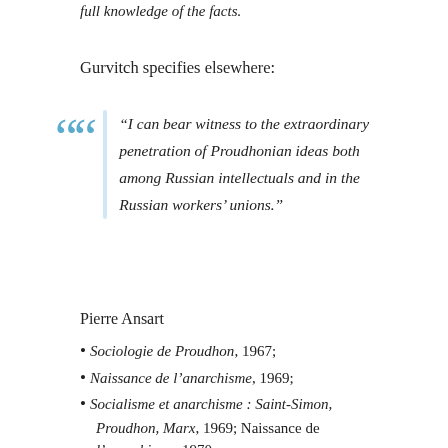full knowledge of the facts.
Gurvitch specifies elsewhere:
“I can bear witness to the extraordinary penetration of Proudhonian ideas both among Russian intellectuals and in the Russian workers’ unions.”
Pierre Ansart
Sociologie de Proudhon, 1967;
Naissance de l’anarchisme, 1969;
Socialisme et anarchisme : Saint-Simon, Proudhon, Marx, 1969; Naissance de l’anarchisme, 1970;